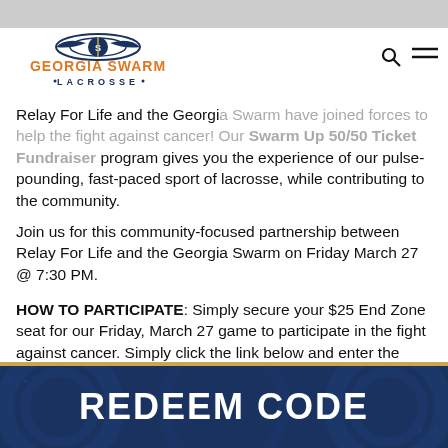[Figure (logo): Georgia Swarm Lacrosse logo with winged lacrosse stick emblem above orange GEORGIA SWARM text and blue LACROSSE text]
Relay For Life and the Georgia Swarm have joined forces to help the fight against cancer! Our Swarm Up 50/50 Ticket Fundraiser program gives you the experience of our pulse-pounding, fast-paced sport of lacrosse, while contributing to the community.
Join us for this community-focused partnership between Relay For Life and the Georgia Swarm on Friday March 27 @ 7:30 PM.
HOW TO PARTICIPATE: Simply secure your $25 End Zone seat for our Friday, March 27 game to participate in the fight against cancer. Simply click the link below and enter the promo code you were given by your local Relay team.
[Figure (infographic): Dark navy blue banner with gold top border showing 'REDEEM CODE' in large white bold uppercase letters with decorative circular background pattern]